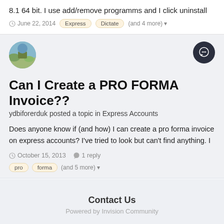8.1 64 bit. I use add/remove programms and I click uninstall
June 22, 2014  Express  Dictate  (and 4 more)
[Figure (photo): Round avatar showing an outdoor landscape photo]
Can I Create a PRO FORMA Invoice??
ydbiforerduk posted a topic in Express Accounts
Does anyone know if (and how) I can create a pro forma invoice on express accounts? I've tried to look but can't find anything. I
October 15, 2013  1 reply
pro  forma  (and 5 more)
Contact Us
Powered by Invision Community